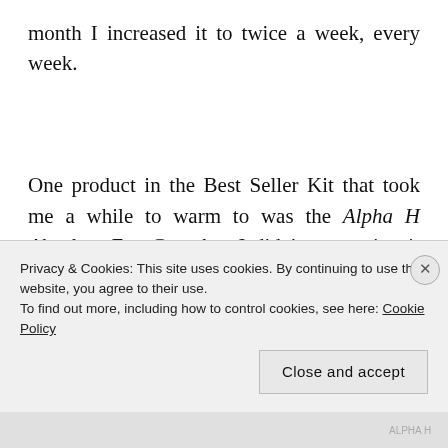month I increased it to twice a week, every week.

One product in the Best Seller Kit that took me a while to warm to was the Alpha H Absolute Eye Complex. I didn't start using it until I was writing part 1 and it dawned on me; if the other products are
Privacy & Cookies: This site uses cookies. By continuing to use this website, you agree to their use.
To find out more, including how to control cookies, see here: Cookie Policy

Close and accept